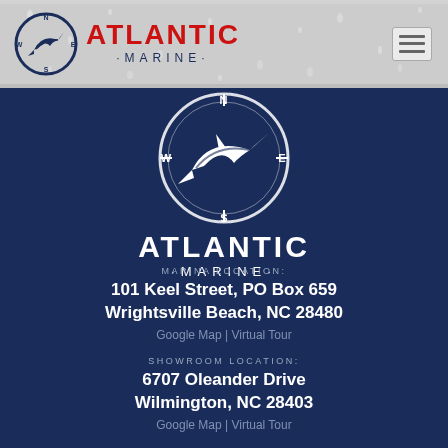[Figure (logo): Atlantic Marine logo - circular compass with marlin fish, red ATLANTIC text, dark blue MARINE text below]
[Figure (logo): Large white Atlantic Marine logo centered on dark navy background - circular compass with marlin, white ATLANTIC and MARINE lettering]
MARINA LOCATION:
101 Keel Street, PO Box 659
Wrightsville Beach, NC 28480
Google Map | Virtual Tour
SHOWROOM LOCATION:
6707 Oleander Drive
Wilmington, NC 28403
Google Map | Virtual Tour